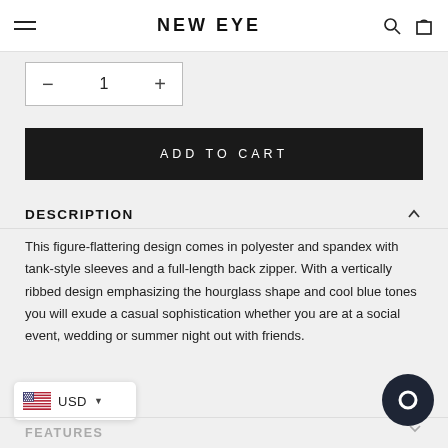NEW EYE
1
ADD TO CART
DESCRIPTION
This figure-flattering design comes in polyester and spandex with tank-style sleeves and a full-length back zipper. With a vertically ribbed design emphasizing the hourglass shape and cool blue tones you will exude a casual sophistication whether you are at a social event, wedding or summer night out with friends.
USD
FEATURES